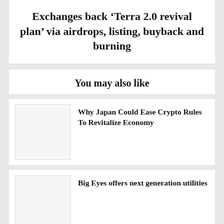Exchanges back ‘Terra 2.0 revival plan’ via airdrops, listing, buyback and burning
You may also like
Why Japan Could Ease Crypto Rules To Revitalize Economy
Big Eyes offers next generation utilities
TA- Near Protocol Struggles With Resistance,